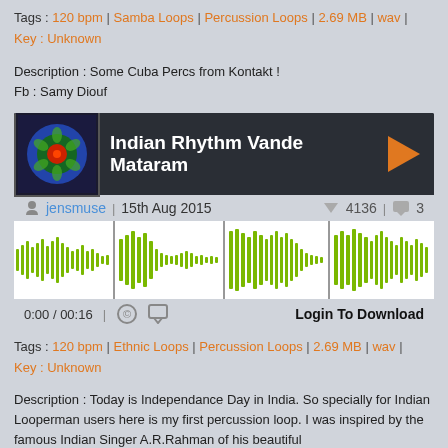Tags : 120 bpm | Samba Loops | Percussion Loops | 2.69 MB | wav | Key : Unknown
Description : Some Cuba Percs from Kontakt !
Fb : Samy Diouf
[Figure (screenshot): Audio player widget for 'Indian Rhythm Vande Mataram' by jensmuse, posted 15th Aug 2015, 4136 downloads, 3 comments, with waveform visualization and Login To Download button]
Tags : 120 bpm | Ethnic Loops | Percussion Loops | 2.69 MB | wav | Key : Unknown
Description : Today is Independance Day in India. So specially for Indian Looperman users here is my first percussion loop. I was inspired by the famous Indian Singer A.R.Rahman of his beautiful